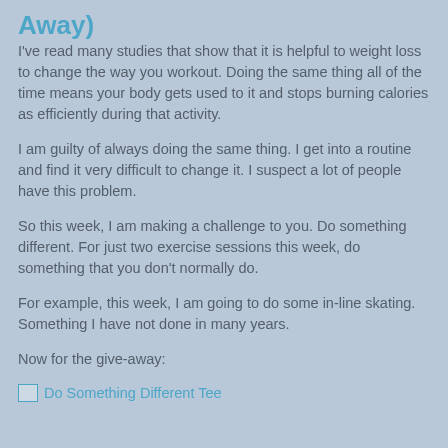Away)
I've read many studies that show that it is helpful to weight loss to change the way you workout. Doing the same thing all of the time means your body gets used to it and stops burning calories as efficiently during that activity.
I am guilty of always doing the same thing. I get into a routine and find it very difficult to change it. I suspect a lot of people have this problem.
So this week, I am making a challenge to you. Do something different. For just two exercise sessions this week, do something that you don't normally do.
For example, this week, I am going to do some in-line skating. Something I have not done in many years.
Now for the give-away:
[Figure (other): Image placeholder with link text: Do Something Different Tee]